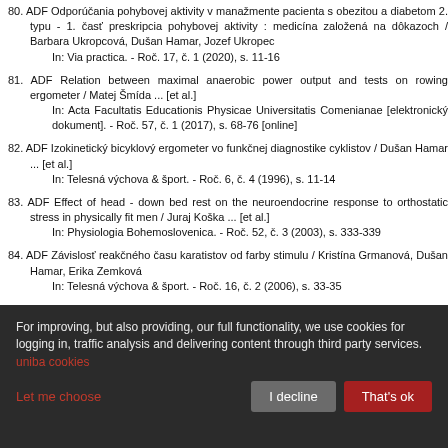80. ADF Odporúčania pohybovej aktivity v manažmente pacienta s obezitou a diabetom 2. typu - 1. časť preskripcia pohybovej aktivity : medicína založená na dôkazoch / Barbara Ukropcová, Dušan Hamar, Jozef Ukropec
In: Via practica. - Roč. 17, č. 1 (2020), s. 11-16
81. ADF Relation between maximal anaerobic power output and tests on rowing ergometer / Matej Šmída ... [et al.]
In: Acta Facultatis Educationis Physicae Universitatis Comenianae [elektronický dokument]. - Roč. 57, č. 1 (2017), s. 68-76 [online]
82. ADF Izokinetický bicyklový ergometer vo funkčnej diagnostike cyklistov / Dušan Hamar ... [et al.]
In: Telesná výchova & šport. - Roč. 6, č. 4 (1996), s. 11-14
83. ADF Effect of head - down bed rest on the neuroendocrine response to orthostatic stress in physically fit men / Juraj Koška ... [et al.]
In: Physiologia Bohemoslovenica. - Roč. 52, č. 3 (2003), s. 333-339
84. ADF Závislosť reakčného času karatistov od farby stimulu / Kristína Grmanová, Dušan Hamar, Erika Zemková
In: Telesná výchova & šport. - Roč. 16, č. 2 (2006), s. 33-35
For improving, but also providing, our full functionality, we use cookies for logging in, traffic analysis and delivering content through third party services. uniba cookies
Let me choose | I decline | That's ok